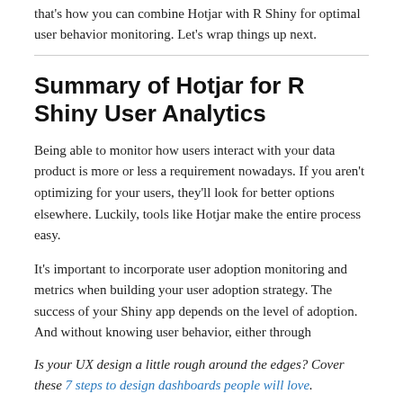that's how you can combine Hotjar with R Shiny for optimal user behavior monitoring. Let's wrap things up next.
Summary of Hotjar for R Shiny User Analytics
Being able to monitor how users interact with your data product is more or less a requirement nowadays. If you aren't optimizing for your users, they'll look for better options elsewhere. Luckily, tools like Hotjar make the entire process easy.
It's important to incorporate user adoption monitoring and metrics when building your user adoption strategy. The success of your Shiny app depends on the level of adoption. And without knowing user behavior, either through
Is your UX design a little rough around the edges? Cover these 7 steps to design dashboards people will love.
If you don't want to pay a monthly (or yearly) fee to use Hotjar, you should consider using logs to monitor user behavior. It's a free alternative but requires more involvement from your end.
Which tool do you want to use to monitor user behavior in R Shiny?